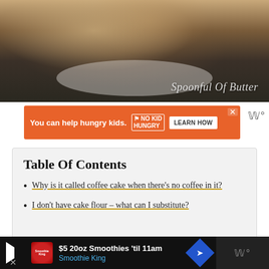[Figure (photo): Close-up photo of a coffee cake or crumb cake piece on a plate with a fork, dark background. Watermark text 'Spoonful Of Butter' in bottom right.]
[Figure (other): Orange advertisement banner: 'You can help hungry kids.' with No Kid Hungry logo and 'LEARN HOW' button. Close button (X) in top right.]
Table Of Contents
Why is it called coffee cake when there's no coffee in it?
I don't have cake flour – what can I substitute?
[Figure (other): Bottom advertisement bar: '$5 20oz Smoothies 'til 11am' for Smoothie King with navigation icon.]